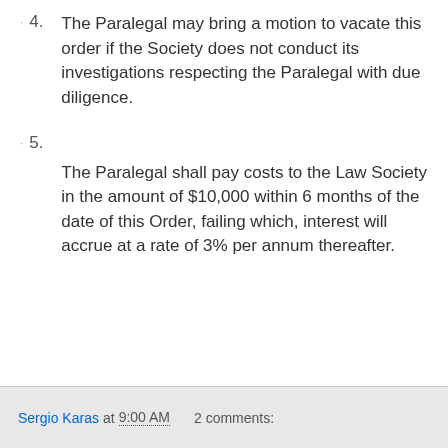4. The Paralegal may bring a motion to vacate this order if the Society does not conduct its investigations respecting the Paralegal with due diligence.
5. The Paralegal shall pay costs to the Law Society in the amount of $10,000 within 6 months of the date of this Order, failing which, interest will accrue at a rate of 3% per annum thereafter.
Sergio Karas at 9:00 AM   2 comments: